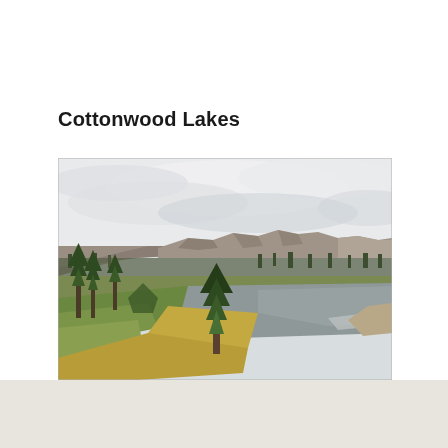Cottonwood Lakes
[Figure (photo): Panoramic landscape photograph of Cottonwood Lakes area showing a high-altitude lake in the foreground with green and golden grasses along the shore, pine trees on the left, a broad rocky mountain range with rugged peaks in the background, and an overcast cloudy sky above.]